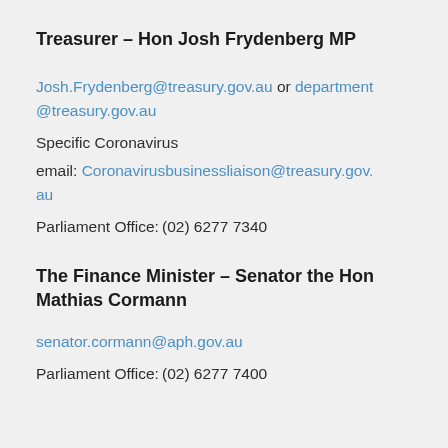Treasurer – Hon Josh Frydenberg MP
Josh.Frydenberg@treasury.gov.au or department@treasury.gov.au
Specific Coronavirus
email: Coronavirusbusinessliaison@treasury.gov.au
Parliament Office: (02) 6277 7340
The Finance Minister – Senator the Hon Mathias Cormann
senator.cormann@aph.gov.au
Parliament Office: (02) 6277 7400